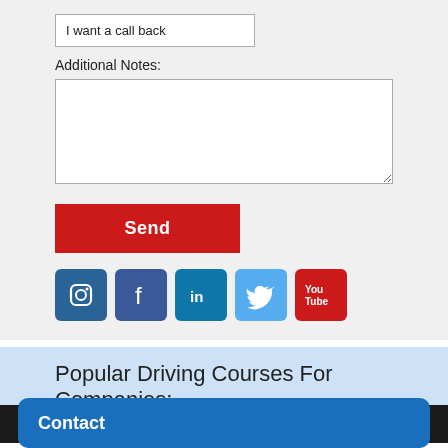I want a call back
Additional Notes:
[Figure (screenshot): Send button (red) and social media icons for Instagram, Facebook, LinkedIn, Twitter, YouTube]
Popular Driving Courses For Companies:
We use cookies to ensure that we give you the best experience on
Contact